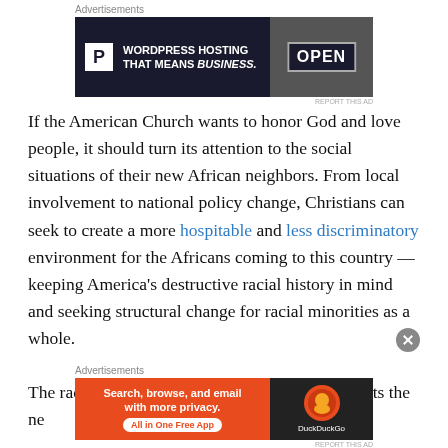[Figure (screenshot): WordPress hosting advertisement banner: dark navy background with white P logo box, text 'WORDPRESS HOSTING THAT MEANS BUSINESS.' and an open sign image on the right]
If the American Church wants to honor God and love people, it should turn its attention to the social situations of their new African neighbors. From local involvement to national policy change, Christians can seek to create a more hospitable and less discriminatory environment for the Africans coming to this country — keeping America's destructive racial history in mind and seeking structural change for racial minorities as a whole.
The racial history and context of this nation affects the ne
[Figure (screenshot): DuckDuckGo advertisement banner: orange background left side with text 'Search, browse, and email with more privacy. All in One Free App' and dark right side with DuckDuckGo logo]